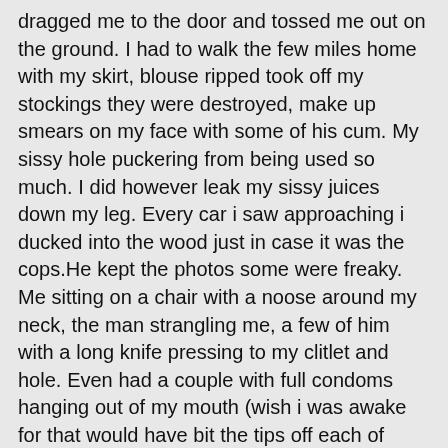dragged me to the door and tossed me out on the ground. I had to walk the few miles home with my skirt, blouse ripped took off my stockings they were destroyed, make up smears on my face with some of his cum. My sissy hole puckering from being used so much. I did however leak my sissy juices down my leg. Every car i saw approaching i ducked into the wood just in case it was the cops.He kept the photos some were freaky. Me sitting on a chair with a noose around my neck, the man strangling me, a few of him with a long knife pressing to my clitlet and hole. Even had a couple with full condoms hanging out of my mouth (wish i was awake for that would have bit the tips off each of them)Anyway just another might in the life of a transgender slut who should have been born a girl. Thanks for ready would love to know what you think please comment if you like and share anything on my page you also like. Bug hugs and lip sweet kisses